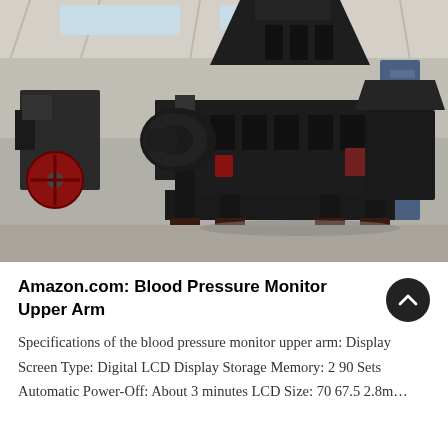[Figure (photo): Industrial heavy machinery (crusher/shredder) inside a factory warehouse. Large black metal machine with motor on the left side, hopper on top, and a steel frame base. Multiple similar machines visible in background. Factory has steel roof structure, concrete floor, and other industrial equipment visible.]
Amazon.com: Blood Pressure Monitor Upper Arm
Specifications of the blood pressure monitor upper arm: Display Screen Type: Digital LCD Display Storage Memory: 2 90 Sets Automatic Power-Off: About 3 minutes LCD Size: 70 67.5 2.8m…